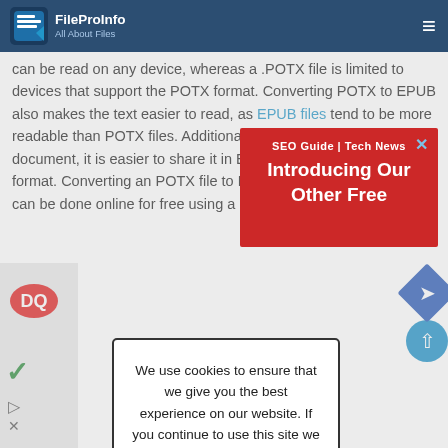FileProInfo | All About Files — hamburger menu
can be read on any device, whereas a .POTX file is limited to devices that support the POTX format. Converting POTX to EPUB also makes the text easier to read, as EPUB files tend to be more readable than POTX files. Additionally, when you want to share a document, it is easier to share it in EPUB format than in POTX format. Converting an POTX file to EPUB is a quick process that can be done online for free using a EPUB converter.
[Figure (screenshot): Red popup banner overlay with header 'SEO Guide | Tech News' and title 'Introducing Our Other Free' with close X button]
[Figure (screenshot): Cookie consent modal: 'We use cookies to ensure that we give you the best experience on our website. If you continue to use this site we will assume that you accept and understand our Privacy Policy, and our Terms of Service.' with I Agree button]